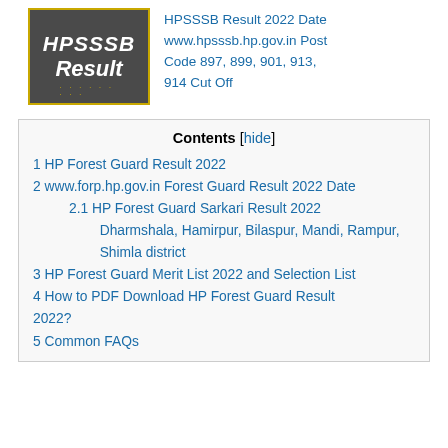[Figure (logo): Dark gray box with gold border showing 'HPSSSB Result' text in white italic bold, with decorative dots at the bottom]
HPSSSB Result 2022 Date www.hpsssb.hp.gov.in Post Code 897, 899, 901, 913, 914 Cut Off
Contents [hide]
1 HP Forest Guard Result 2022
2 www.forp.hp.gov.in Forest Guard Result 2022 Date
2.1 HP Forest Guard Sarkari Result 2022 Dharmshala, Hamirpur, Bilaspur, Mandi, Rampur, Shimla district
3 HP Forest Guard Merit List 2022 and Selection List
4 How to PDF Download HP Forest Guard Result 2022?
5 Common FAQs